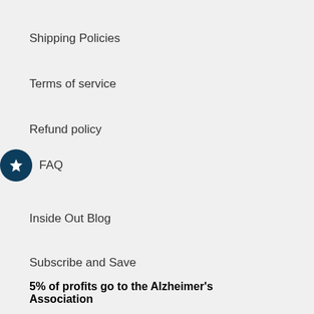Shipping Policies
Terms of service
Refund policy
FAQ
Inside Out Blog
Subscribe and Save
5% of profits go to the Alzheimer's Association